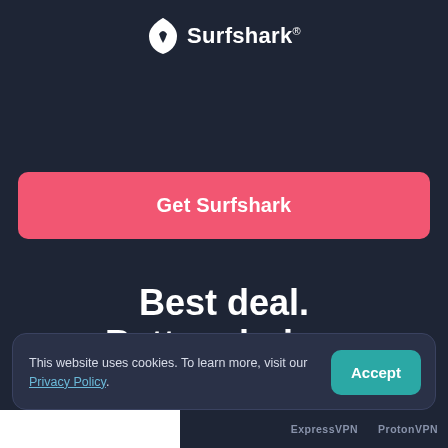[Figure (logo): Surfshark logo with shark-fin icon and wordmark with registered trademark symbol]
Get Surfshark
Best deal.
Better choice.
This website uses cookies. To learn more, visit our Privacy Policy.
Accept
ExpressVPN   ProtonVPN